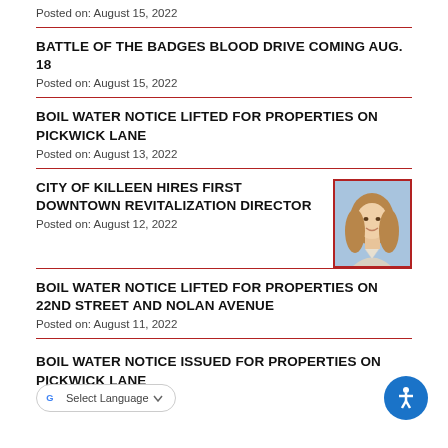Posted on: August 15, 2022
BATTLE OF THE BADGES BLOOD DRIVE COMING AUG. 18
Posted on: August 15, 2022
BOIL WATER NOTICE LIFTED FOR PROPERTIES ON PICKWICK LANE
Posted on: August 13, 2022
CITY OF KILLEEN HIRES FIRST DOWNTOWN REVITALIZATION DIRECTOR
[Figure (photo): Headshot photo of a young woman with long wavy hair, smiling, against a blue background, shown in a portrait photo with a red border]
Posted on: August 12, 2022
BOIL WATER NOTICE LIFTED FOR PROPERTIES ON 22ND STREET AND NOLAN AVENUE
Posted on: August 11, 2022
BOIL WATER NOTICE ISSUED FOR PROPERTIES ON PICKWICK LANE